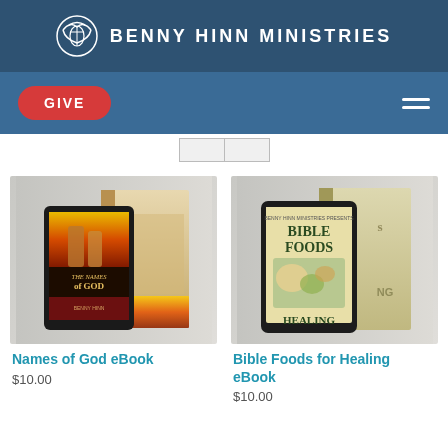BENNY HINN MINISTRIES
GIVE
[Figure (photo): Names of God eBook product image showing a tablet and physical book with 'The Names of God' cover featuring stone columns]
Names of God eBook
$10.00
[Figure (photo): Bible Foods for Healing eBook product image showing a tablet and physical book with 'Bible Foods for Healing' cover]
Bible Foods for Healing eBook
$10.00